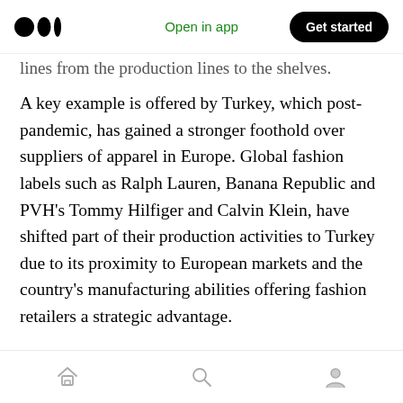Medium app header — Open in app | Get started
lines from the production lines to the shelves.
A key example is offered by Turkey, which post-pandemic, has gained a stronger foothold over suppliers of apparel in Europe. Global fashion labels such as Ralph Lauren, Banana Republic and PVH's Tommy Hilfiger and Calvin Klein, have shifted part of their production activities to Turkey due to its proximity to European markets and the country's manufacturing abilities offering fashion retailers a strategic advantage.
Other players can take cues from these shifts in
Home | Search | Profile navigation icons